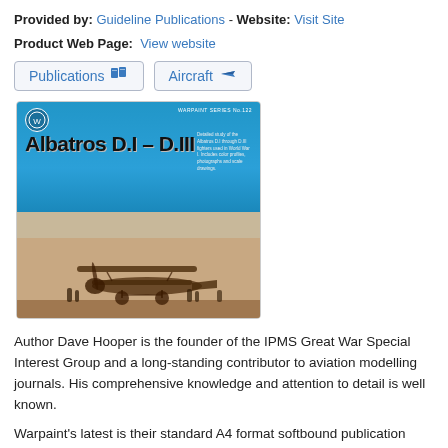Provided by: Guideline Publications - Website: Visit Site
Product Web Page: View website
Publications   Aircraft
[Figure (photo): Book cover of 'Albatros D.I – D.III' by Dave Hooper, Warpaint Series No.122. Top half shows blue cover with title text; bottom half shows a sepia photograph of a World War I Albatros biplane on the ground with people around it.]
Author Dave Hooper is the founder of the IPMS Great War Special Interest Group and a long-standing contributor to aviation modelling journals. His comprehensive knowledge and attention to detail is well known.
Warpaint's latest is their standard A4 format softbound publication